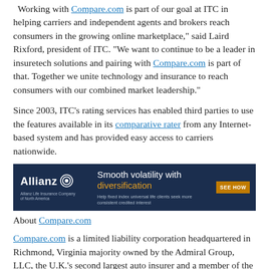Working with Compare.com is part of our goal at ITC in helping carriers and independent agents and brokers reach consumers in the growing online marketplace," said Laird Rixford, president of ITC. "We want to continue to be a leader in insuretech solutions and pairing with Compare.com is part of that. Together we unite technology and insurance to reach consumers with our combined market leadership."
Since 2003, ITC's rating services has enabled third parties to use the features available in its comparative rater from any Internet-based system and has provided easy access to carriers nationwide.
[Figure (other): Allianz advertisement banner with dark navy background. Shows Allianz logo with circular emblem, tagline 'Smooth volatility with diversification' in white and orange text, subtitle 'Help fixed index universal life clients seek more consistent credited interest', and an orange SEE HOW button on the right.]
About Compare.com
Compare.com is a limited liability corporation headquartered in Richmond, Virginia majority owned by the Admiral Group, LLC, the U.K.'s second largest auto insurer and a member of the FTSE